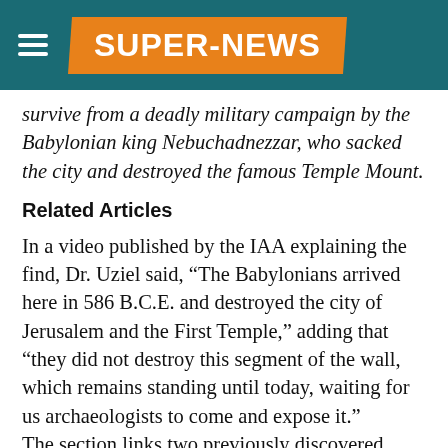SUPER-NEWS
survive from a deadly military campaign by the Babylonian king Nebuchadnezzar, who sacked the city and destroyed the famous Temple Mount.
Related Articles
In a video published by the IAA explaining the find, Dr. Uziel said, “The Babylonians arrived here in 586 B.C.E. and destroyed the city of Jerusalem and the First Temple,” adding that “they did not destroy this segment of the wall, which remains standing until today, waiting for us archaeologists to come and expose it.” The section links two previously discovered segments, which provides further proof that Jerusalem was fully walled before the Babylonian